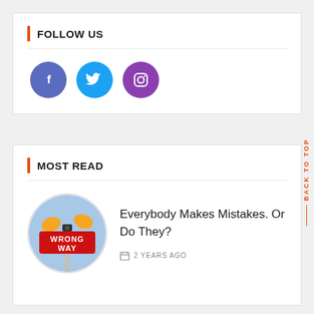FOLLOW US
[Figure (illustration): Three social media icon circles: Facebook (blue-purple), Twitter (light blue), Instagram (purple)]
MOST READ
[Figure (photo): Circular photo of a red WRONG WAY street sign with orange traffic signals against a blue sky]
Everybody Makes Mistakes. Or Do They?
2 YEARS AGO